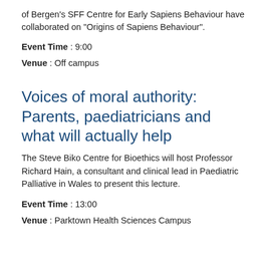of Bergen's SFF Centre for Early Sapiens Behaviour have collaborated on "Origins of Sapiens Behaviour".
Event Time : 9:00
Venue : Off campus
Voices of moral authority: Parents, paediatricians and what will actually help
The Steve Biko Centre for Bioethics will host Professor Richard Hain, a consultant and clinical lead in Paediatric Palliative in Wales to present this lecture.
Event Time : 13:00
Venue : Parktown Health Sciences Campus